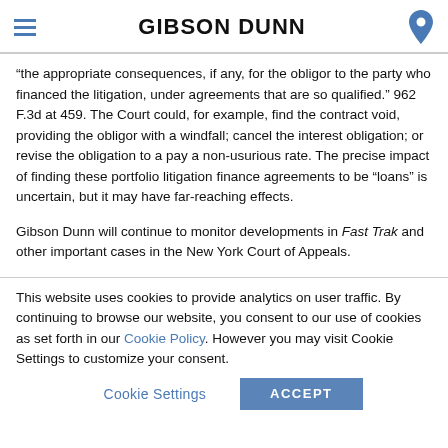GIBSON DUNN
“the appropriate consequences, if any, for the obligor to the party who financed the litigation, under agreements that are so qualified.” 962 F.3d at 459. The Court could, for example, find the contract void, providing the obligor with a windfall; cancel the interest obligation; or revise the obligation to a pay a non-usurious rate. The precise impact of finding these portfolio litigation finance agreements to be “loans” is uncertain, but it may have far-reaching effects.
Gibson Dunn will continue to monitor developments in Fast Trak and other important cases in the New York Court of Appeals.
This website uses cookies to provide analytics on user traffic. By continuing to browse our website, you consent to our use of cookies as set forth in our Cookie Policy. However you may visit Cookie Settings to customize your consent.